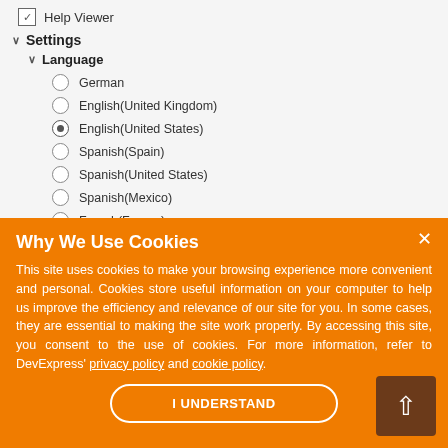☑ Help Viewer
✓ Settings
✓ Language
○ German
○ English(United Kingdom)
● English(United States)
○ Spanish(Spain)
○ Spanish(United States)
○ Spanish(Mexico)
○ French(France)
○ French(Canada)
Why We Use Cookies
This site uses cookies to make your browsing experience more convenient and personal. Cookies store useful information on your computer to help us improve the efficiency and relevance of our site for you. In some cases, they are essential to making the site work properly. By accessing this site, you consent to the use of cookies. For more information, refer to DevExpress' privacy policy and cookie policy.